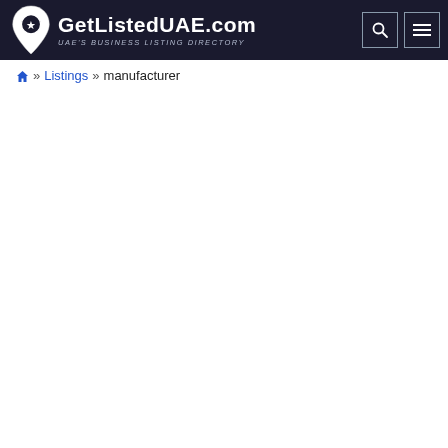[Figure (logo): GetListedUAE.com logo with map pin icon and tagline UAE's BUSINESS LISTING DIRECTORY, plus search and menu buttons in dark header bar]
🏠 » Listings » manufacturer